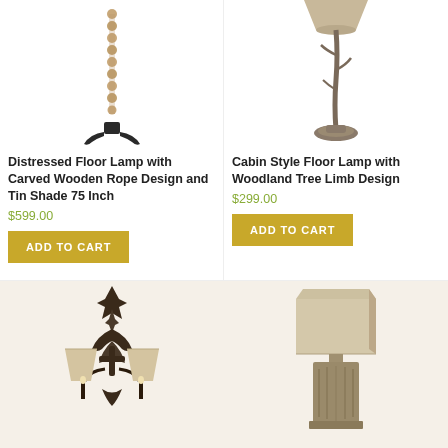[Figure (illustration): Distressed floor lamp with carved wooden rope design, showing the lower portion of a tall lamp with twisted rope-like column and dark base with splayed feet]
Distressed Floor Lamp with Carved Wooden Rope Design and Tin Shade 75 Inch
$599.00
ADD TO CART
[Figure (illustration): Cabin style floor lamp with woodland tree limb design, showing lamp with branch-like column and round shade at top, on decorative base]
Cabin Style Floor Lamp with Woodland Tree Limb Design
$299.00
ADD TO CART
[Figure (illustration): Wall sconce lamp with ornate dark metal fleur-de-lis backplate and two cream drum shades with candelabra-style arms]
[Figure (illustration): Table lamp with rectangular beige/linen shade and textured carved rectangular base]